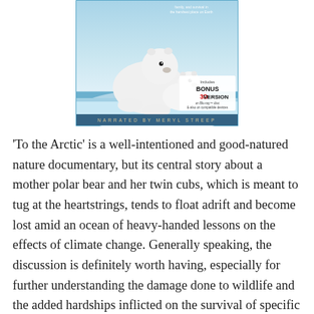[Figure (photo): Movie cover/poster for 'To the Arctic' Blu-ray, featuring a mother polar bear with two cubs on ice, text 'Narrated by Meryl Streep', and a badge reading 'Includes BONUS 3D VERSION on Blu-ray disc & also on compatible devices']
'To the Arctic' is a well-intentioned and good-natured nature documentary, but its central story about a mother polar bear and her twin cubs, which is meant to tug at the heartstrings, tends to float adrift and become lost amid an ocean of heavy-handed lessons on the effects of climate change. Generally speaking, the discussion is definitely worth having, especially for further understanding the damage done to wildlife and the added hardships inflicted on the survival of specific species. The best approach is also the